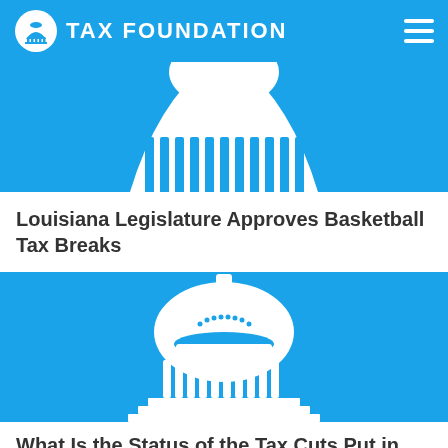TAX FOUNDATION
[Figure (illustration): Partial Tax Foundation capitol dome illustration in white on blue background, cropped at top]
Louisiana Legislature Approves Basketball Tax Breaks
[Figure (illustration): Tax Foundation capitol dome logo illustration in white on blue background]
What Is the Status of the Tax Cuts Put in Place...